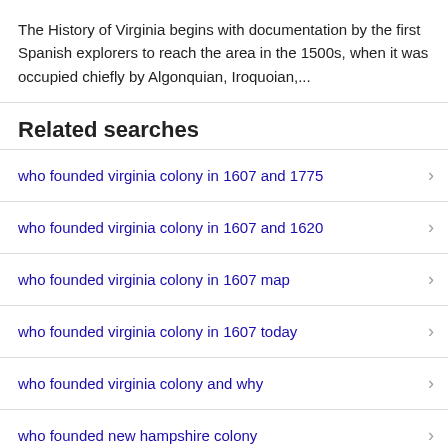The History of Virginia begins with documentation by the first Spanish explorers to reach the area in the 1500s, when it was occupied chiefly by Algonquian, Iroquoian,...
Related searches
who founded virginia colony in 1607 and 1775
who founded virginia colony in 1607 and 1620
who founded virginia colony in 1607 map
who founded virginia colony in 1607 today
who founded virginia colony and why
who founded new hampshire colony